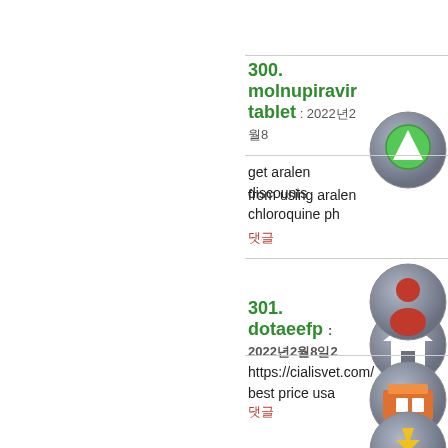300. molnupiravir tablets
get aralen discounts chloroquine ph from using aralen
댓글
301. dotaeefp : 2022년2월8일
https://cialisvet.com/ best price usa
댓글